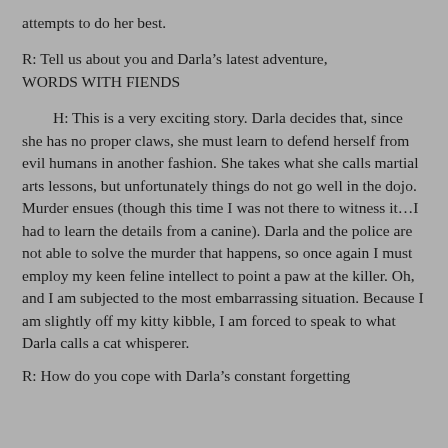attempts to do her best.
R: Tell us about you and Darla’s latest adventure, WORDS WITH FIENDS
H: This is a very exciting story. Darla decides that, since she has no proper claws, she must learn to defend herself from evil humans in another fashion. She takes what she calls martial arts lessons, but unfortunately things do not go well in the dojo. Murder ensues (though this time I was not there to witness it…I had to learn the details from a canine). Darla and the police are not able to solve the murder that happens, so once again I must employ my keen feline intellect to point a paw at the killer. Oh, and I am subjected to the most embarrassing situation. Because I am slightly off my kitty kibble, I am forced to speak to what Darla calls a cat whisperer.
R: How do you cope with Darla’s constant forgetting...